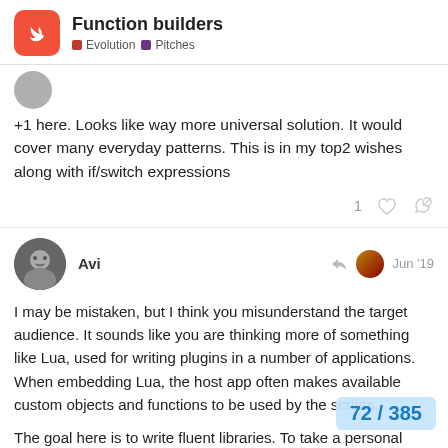Function builders — Evolution · Pitches
+1 here. Looks like way more universal solution. It would cover many everyday patterns. This is in my top2 wishes along with if/switch expressions
Avi  Jun '19
I may be mistaken, but I think you misunderstand the target audience. It sounds like you are thinking more of something like Lua, used for writing plugins in a number of applications. When embedding Lua, the host app often makes available custom objects and functions to be used by the scripts.
The goal here is to write fluent libraries. To take a personal example, I wrote a small command-line arg uses a declarative style for defining the gr
72 / 385